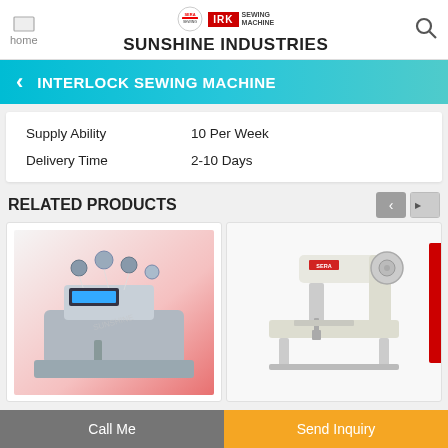home | SUNSHINE INDUSTRIES
INTERLOCK SEWING MACHINE
|  |  |
| --- | --- |
| Supply Ability | 10 Per Week |
| Delivery Time | 2-10 Days |
RELATED PRODUCTS
[Figure (photo): Overlock/interlock sewing machine with multiple spools on gradient pink/white background]
[Figure (photo): SERA brand single needle lockstitch sewing machine on white background]